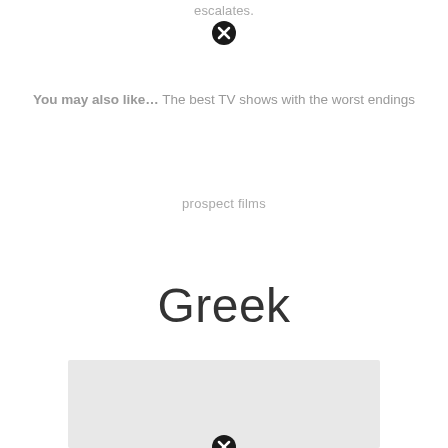escalates.
You may also like… The best TV shows with the worst endings
prospect films
Greek
[Figure (other): Gray placeholder image box with a close/dismiss button at the bottom center]